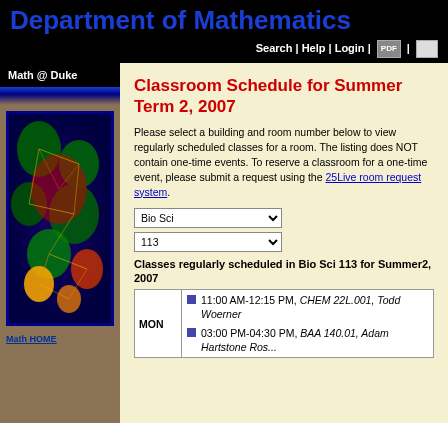Department of Mathematics
Search | Help | Login |
Math @ Duke
[Figure (illustration): Colorful fractal or mathematical visualization image with blue border, showing green, red, orange cellular/network patterns on dark blue background]
Classroom Schedule for Summer Term 2, 2007
Please select a building and room number below to view regularly scheduled classes for a room. The listing does NOT contain one-time events. To reserve a classroom for a one-time event, please submit a request using the 25Live room request system.
Bio Sci [dropdown]
113 [dropdown]
Classes regularly scheduled in Bio Sci 113 for Summer2, 2007
| Day | Classes |
| --- | --- |
| MON | 11:00 AM-12:15 PM, CHEM 22L.001, Todd Woerner
03:00 PM-04:30 PM, BAA 140.01, Adam Hartstone Ros... |